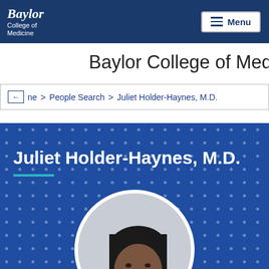Baylor College of Medicine — Menu navigation
Baylor College of Medicine
Home > People Search > Juliet Holder-Haynes, M.D.
Juliet Holder-Haynes, M.D.
[Figure (photo): Circular profile photo of Juliet Holder-Haynes, M.D., a woman with straight black hair, smiling, wearing a white coat or white top, against a light grey background.]